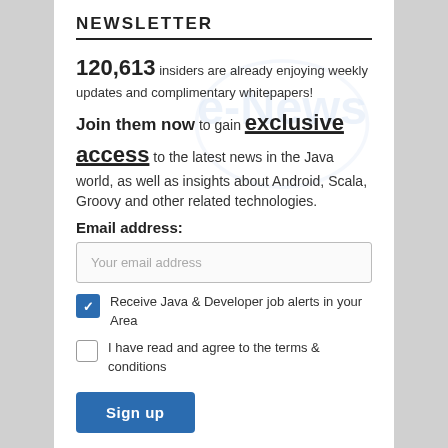NEWSLETTER
120,613 insiders are already enjoying weekly updates and complimentary whitepapers! Join them now to gain exclusive access to the latest news in the Java world, as well as insights about Android, Scala, Groovy and other related technologies.
Email address:
Your email address
Receive Java & Developer job alerts in your Area
I have read and agree to the terms & conditions
Sign up